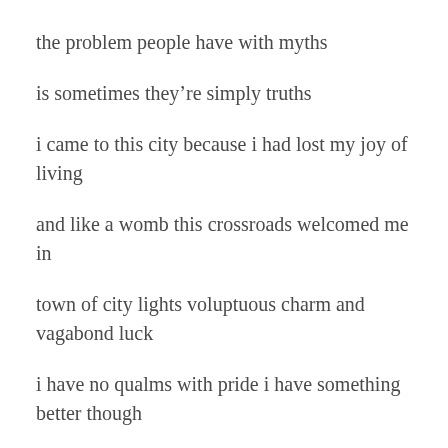the problem people have with myths
is sometimes they’re simply truths
i came to this city because i had lost my joy of living
and like a womb this crossroads welcomed me in
town of city lights voluptuous charm and vagabond luck
i have no qualms with pride i have something better though